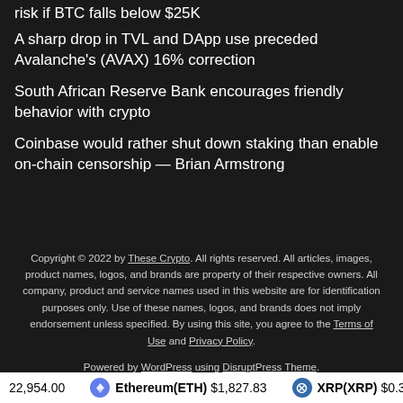risk if BTC falls below $25K
A sharp drop in TVL and DApp use preceded Avalanche's (AVAX) 16% correction
South African Reserve Bank encourages friendly behavior with crypto
Coinbase would rather shut down staking than enable on-chain censorship — Brian Armstrong
Copyright © 2022 by These Crypto. All rights reserved. All articles, images, product names, logos, and brands are property of their respective owners. All company, product and service names used in this website are for identification purposes only. Use of these names, logos, and brands does not imply endorsement unless specified. By using this site, you agree to the Terms of Use and Privacy Policy. Powered by WordPress using DisruptPress Theme.
22,954.00   Ethereum(ETH) $1,827.83   XRP(XRP) $0.366887